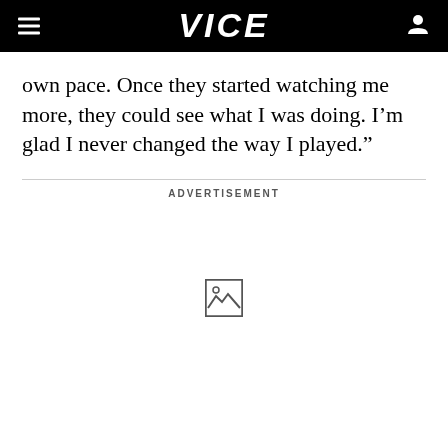VICE
own pace. Once they started watching me more, they could see what I was doing. I’m glad I never changed the way I played.”
ADVERTISEMENT
[Figure (other): Broken image placeholder icon in advertisement area]